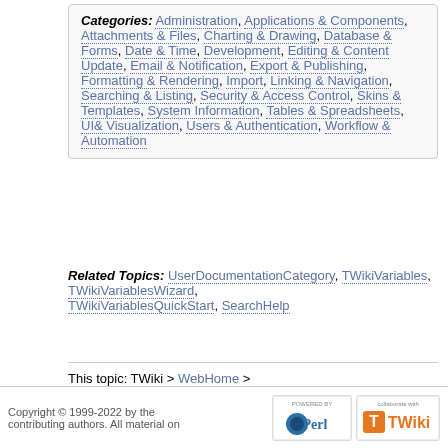Categories: Administration, Applications & Components, Attachments & Files, Charting & Drawing, Database & Forms, Date & Time, Development, Editing & Content Update, Email & Notification, Export & Publishing, Formatting & Rendering, Import, Linking & Navigation, Searching & Listing, Security & Access Control, Skins & Templates, System Information, Tables & Spreadsheets, UI& Visualization, Users & Authentication, Workflow & Automation
Related Topics: UserDocumentationCategory, TWikiVariables, TWikiVariablesWizard, TWikiVariablesQuickStart, SearchHelp
This topic: TWiki > WebHome > TWikiVariables > TWikiVariablesSearch
Topic revision: r2 - 2013-04-22 - TWikiContributor
Copyright © 1999-2022 by the contributing authors. All material on